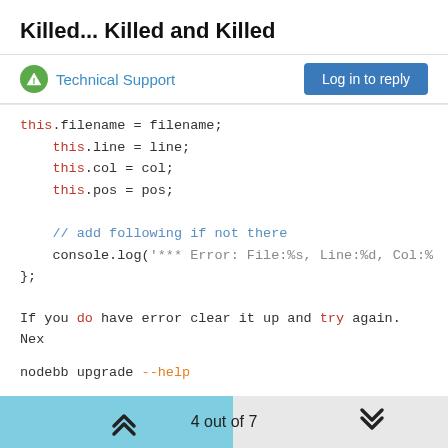Killed... Killed and Killed
Technical Support
Log in to reply
this.filename = filename;
    this.line = line;
    this.col = col;
    this.pos = pos;

    // add following if not there
    console.log('*** Error: File:%s, Line:%d, Col:%
};
If you do have error clear it up and try again. Nex
nodebb upgrade --help
4 out of 7